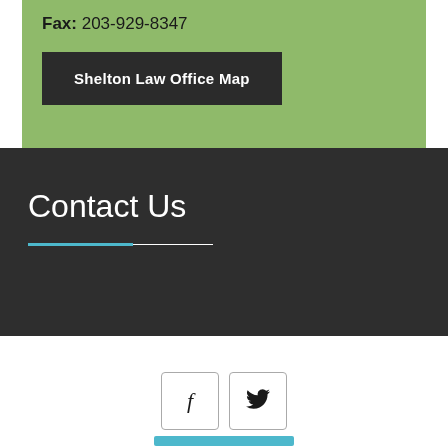Fax: 203-929-8347
Shelton Law Office Map
Contact Us
[Figure (other): Facebook and Twitter social media icon buttons]
[Figure (other): Teal/cyan button at bottom of page]